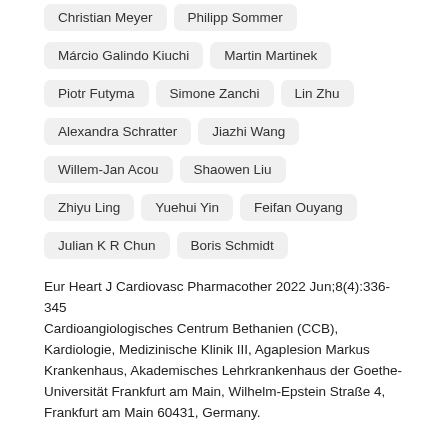Christian Meyer
Philipp Sommer
Márcio Galindo Kiuchi
Martin Martinek
Piotr Futyma
Simone Zanchi
Lin Zhu
Alexandra Schratter
Jiazhi Wang
Willem-Jan Acou
Shaowen Liu
Zhiyu Ling
Yuehui Yin
Feifan Ouyang
Julian K R Chun
Boris Schmidt
Eur Heart J Cardiovasc Pharmacother 2022 Jun;8(4):336-345
Cardioangiologisches Centrum Bethanien (CCB), Kardiologie, Medizinische Klinik III, Agaplesion Markus Krankenhaus, Akademisches Lehrkrankenhaus der Goethe-Universität Frankfurt am Main, Wilhelm-Epstein Straße 4, Frankfurt am Main 60431, Germany.